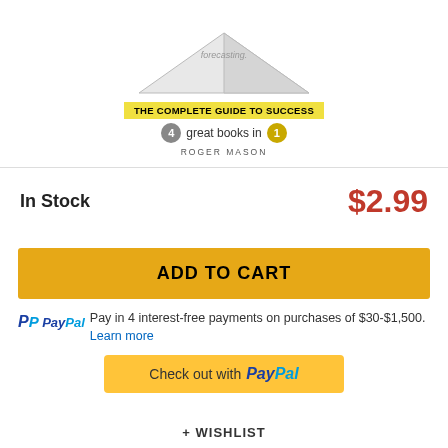[Figure (illustration): Book cover showing a tent-shaped book with text 'THE COMPLETE GUIDE TO SUCCESS', '4 great books in 1', and 'ROGER MASON'. Yellow highlighted banner and circular number badges visible.]
In Stock
$2.99
ADD TO CART
PayPal  Pay in 4 interest-free payments on purchases of $30-$1,500. Learn more
Check out with PayPal
+ WISHLIST